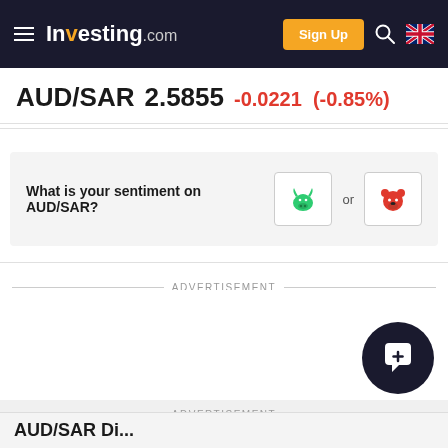Investing.com — Sign Up
AUD/SAR 2.5855 -0.0221 (-0.85%)
What is your sentiment on AUD/SAR?
ADVERTISEMENT
ADVERTISEMENT
Gracious Retirement Living — Come Share Our Enthusiasm — VISIT NOW!
AUD/SAR Di...